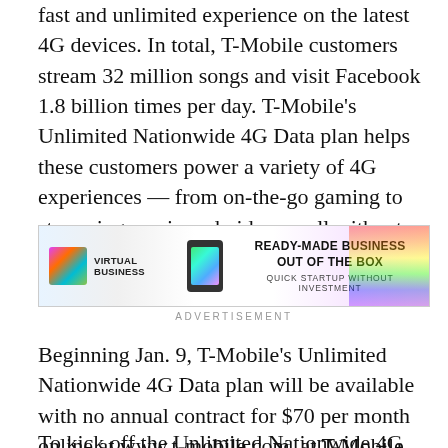fast and unlimited experience on the latest 4G devices. In total, T-Mobile customers stream 32 million songs and visit Facebook 1.8 billion times per day. T-Mobile's Unlimited Nationwide 4G Data plan helps these customers power a variety of 4G experiences — from on-the-go gaming to streaming music and video — all without limits on its 4G network.
[Figure (infographic): Advertisement banner for Virtual Business: 'Ready-Made Business Out Of The Box – Quick Startup Without Investment']
ADVERTISEMENT
Beginning Jan. 9, T-Mobile's Unlimited Nationwide 4G Data plan will be available with no annual contract for $70 per month online at www.t-mobile.com, at T-Mobile retail stores or through select dealers and national retail stores.
To kick off the Unlimited Nationwide 4G Data plan with